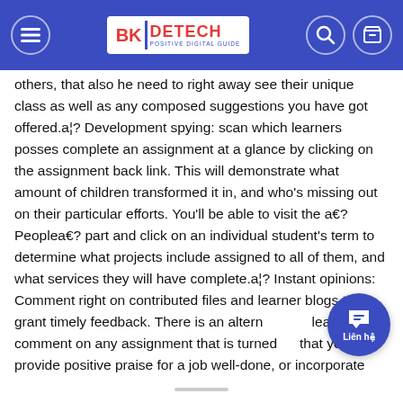BK DETECH — header navigation bar
others, that also he need to right away see their unique class as well as any composed suggestions you have got offered.a¦? Development spying: scan which learners posses complete an assignment at a glance by clicking on the assignment back link. This will demonstrate what amount of children transformed it in, and who's missing out on their particular efforts. You'll be able to visit the a€?Peoplea€? part and click on an individual student's term to determine what projects include assigned to all of them, and what services they will have complete.a¦? Instant opinions: Comment right on contributed files and learner blogs to grant timely feedback. There is an alternative leave a comment on any assignment that is turned in, that you can provide positive praise for a job well-done, or incorporate tricks for necessary corrections.